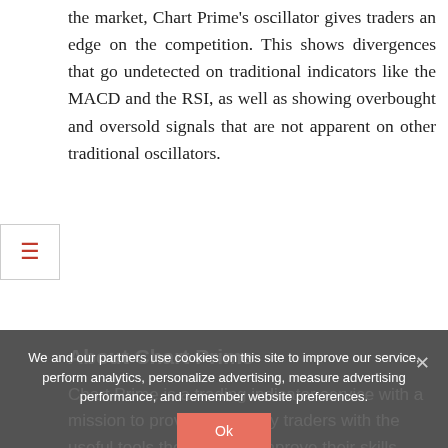the market, Chart Prime's oscillator gives traders an edge on the competition. This shows divergences that go undetected on traditional indicators like the MACD and the RSI, as well as showing overbought and oversold signals that are not apparent on other traditional oscillators.
Traders interested in Chart Prime can sign up now through June 30, 2022 to receive a 20% discount on their first payment with COUPON CODE: CPPRESS22. To learn more about Chart Prime, visit https://www.chartprime.com or check out a live stream with their indicators in action here!
About Chart Prime
Chart Prime is a trading indicator service with a mission to provide everyday traders with the useful tools they need to improve their skills. Specializing in crypto,
We and our partners use cookies on this site to improve our service, perform analytics, personalize advertising, measure advertising performance, and remember website preferences.